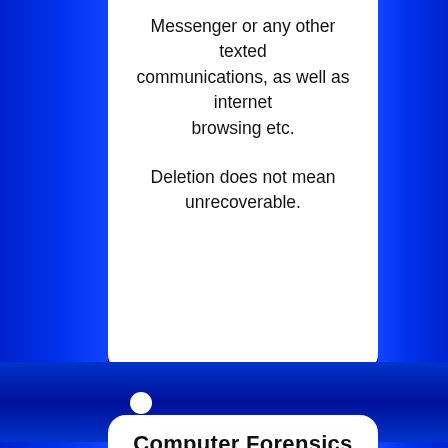Messenger or any other texted communications, as well as internet browsing etc.

Deletion does not mean unrecoverable.
Computer Forensics
Every Lock has a key. Especially in deciphering encypted files or deleted ones.

When someone thinks they are being clever by deleting files by whatever method they think will cover their